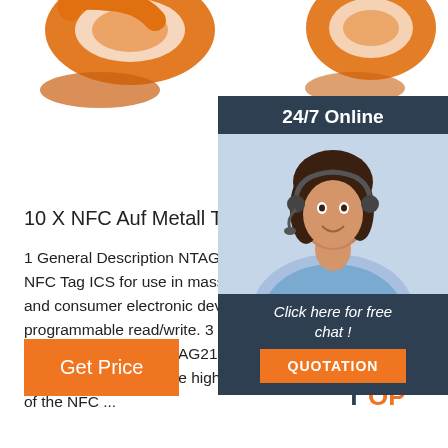[Figure (photo): Two orange NFC ring tags on metal, cropped at top of page]
[Figure (photo): 24/7 Online chat support panel with woman wearing headset, 'Click here for free chat!' text, and QUOTATION orange button]
10 X NFC Auf Metall Tags
1 General Description NTAG216 by NXP Semiconducto NFC Tag ICS for use in mass market uses such as m and consumer electronic devices. 2 Memory 888 by programmable read/write. 3 Communication and co Communication for NTAG216 can only become stro brand is available in the high frequency range (appr of the NFC ...
[Figure (other): Get Price orange button]
[Figure (logo): TOP logo with orange dots and stylized T-O-P text]